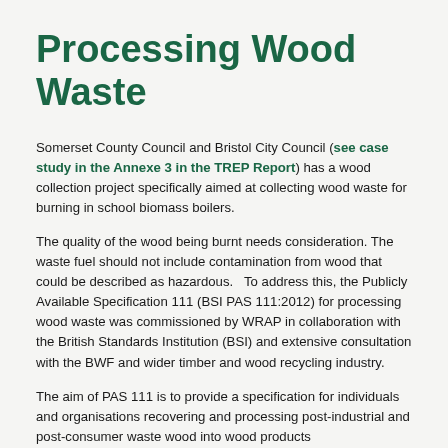Processing Wood Waste
Somerset County Council and Bristol City Council (see case study in the Annexe 3 in the TREP Report) has a wood collection project specifically aimed at collecting wood waste for burning in school biomass boilers.
The quality of the wood being burnt needs consideration. The waste fuel should not include contamination from wood that could be described as hazardous.   To address this, the Publicly Available Specification 111 (BSI PAS 111:2012) for processing wood waste was commissioned by WRAP in collaboration with the British Standards Institution (BSI) and extensive consultation with the BWF and wider timber and wood recycling industry.
The aim of PAS 111 is to provide a specification for individuals and organisations recovering and processing post-industrial and post-consumer waste wood into wood products